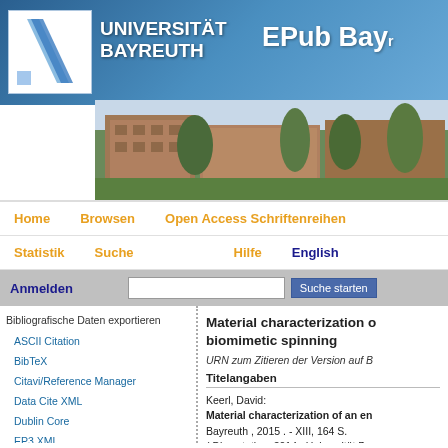[Figure (screenshot): Universität Bayreuth EPub Bayreuth university library website header with logo and building photo]
Home   Browsen   Open Access Schriftenreihen
Statistik   Suche   Hilfe   English
Anmelden   [search box]   Suche starten
Bibliografische Daten exportieren
ASCII Citation
BibTeX
Citavi/Reference Manager
Data Cite XML
Dublin Core
EP3 XML
EndNote
HTML Citation
Material characterization of biomimetic spinning
URN zum Zitieren der Version auf B
Titelangaben
Keerl, David:
Material characterization of an en
Bayreuth , 2015 . - XIII, 164 S.
( Dissertation, 2014 , Universität B